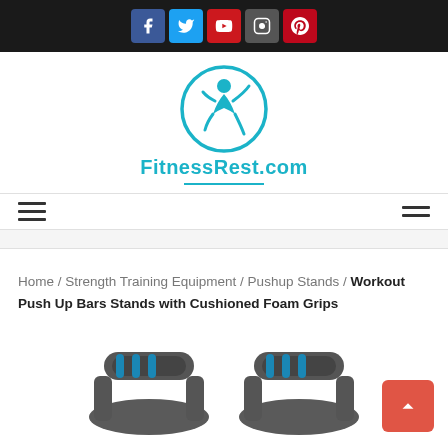[Figure (logo): Social media top bar with Facebook, Twitter, YouTube, Instagram, Pinterest icons on black background]
[Figure (logo): FitnessRest.com logo — circular teal icon with jumping figure, teal text below]
[Figure (other): Navigation hamburger menu icons on left and right]
Home / Strength Training Equipment / Pushup Stands / Workout Push Up Bars Stands with Cushioned Foam Grips
[Figure (photo): Partial product photo of push-up bar handles with blue foam grips on grey metal frame, bottom of image]